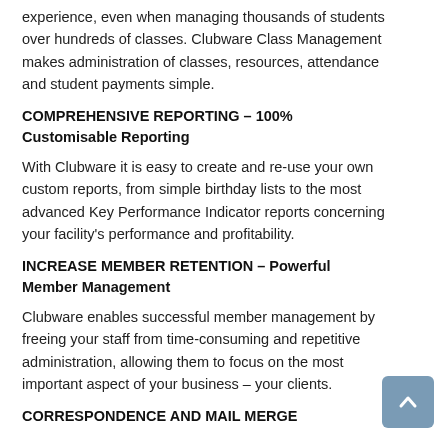experience, even when managing thousands of students over hundreds of classes. Clubware Class Management makes administration of classes, resources, attendance and student payments simple.
COMPREHENSIVE REPORTING – 100% Customisable Reporting
With Clubware it is easy to create and re-use your own custom reports, from simple birthday lists to the most advanced Key Performance Indicator reports concerning your facility's performance and profitability.
INCREASE MEMBER RETENTION – Powerful Member Management
Clubware enables successful member management by freeing your staff from time-consuming and repetitive administration, allowing them to focus on the most important aspect of your business – your clients.
CORRESPONDENCE AND MAIL MERGE